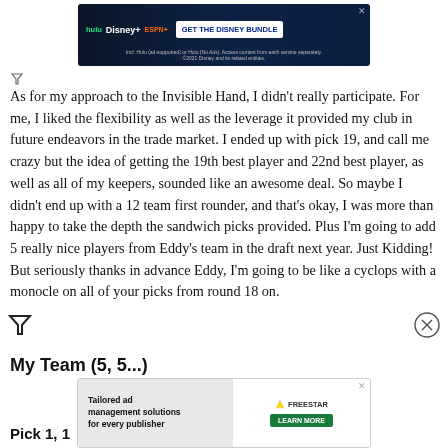[Figure (other): Disney Bundle advertisement banner showing Hulu, Disney+, ESPN+ logos with 'GET THE DISNEY BUNDLE' call to action]
As for my approach to the Invisible Hand, I didn't really participate. For me, I liked the flexibility as well as the leverage it provided my club in future endeavors in the trade market. I ended up with pick 19, and call me crazy but the idea of getting the 19th best player and 22nd best player, as well as all of my keepers, sounded like an awesome deal. So maybe I didn't end up with a 12 team first rounder, and that's okay, I was more than happy to take the depth the sandwich picks provided. Plus I'm going to add 5 really nice players from Eddy's team in the draft next year. Just Kidding! But seriously thanks in advance Eddy, I'm going to be like a cyclops with a monocle on all of your picks from round 18 on.
My Team (5, 5...)
[Figure (other): Freestar advertisement banner with 'Tailored ad management solutions for every publisher' text and LEARN MORE button]